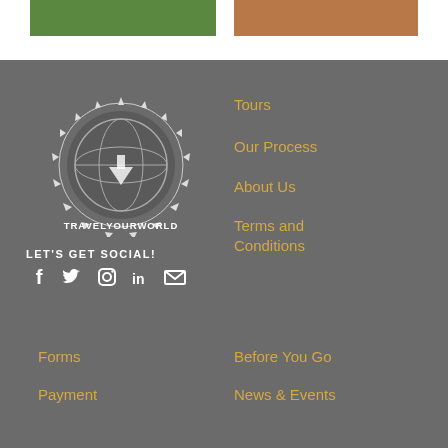[Figure (photo): Green landscape photo on left]
[Figure (photo): Person in warm-toned photo on right]
[Figure (logo): TravelYourWorld circular logo with globe and gear/spike border, white on dark background]
LET'S GET SOCIAL!
[Figure (infographic): Social media icons: Facebook, Twitter, Instagram, LinkedIn, Email]
Tours
Our Process
About Us
Terms and Conditions
Forms
Payment
Before You Go
News & Events